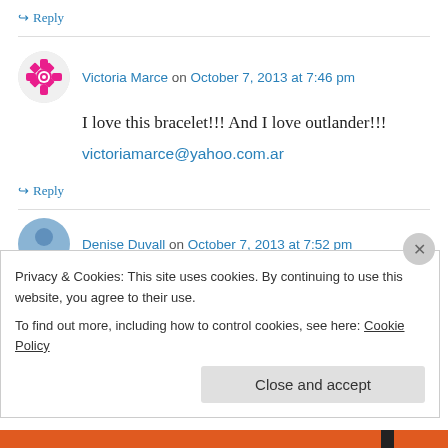↪ Reply
Victoria Marce on October 7, 2013 at 7:46 pm
I love this bracelet!!! And I love outlander!!!
victoriamarce@yahoo.com.ar
↪ Reply
Denise Duvall on October 7, 2013 at 7:52 pm
Privacy & Cookies: This site uses cookies. By continuing to use this website, you agree to their use.
To find out more, including how to control cookies, see here: Cookie Policy
Close and accept